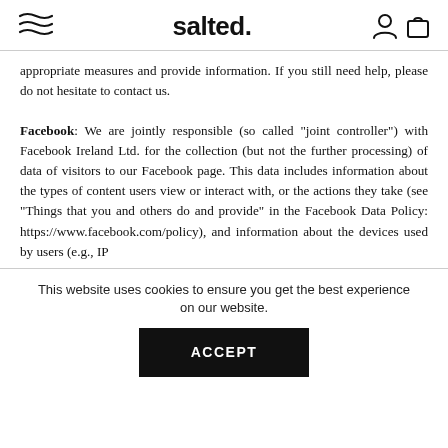salted.
appropriate measures and provide information. If you still need help, please do not hesitate to contact us.
Facebook: We are jointly responsible (so called "joint controller") with Facebook Ireland Ltd. for the collection (but not the further processing) of data of visitors to our Facebook page. This data includes information about the types of content users view or interact with, or the actions they take (see "Things that you and others do and provide" in the Facebook Data Policy: https://www.facebook.com/policy), and information about the devices used by users (e.g., IP
This website uses cookies to ensure you get the best experience on our website.
ACCEPT